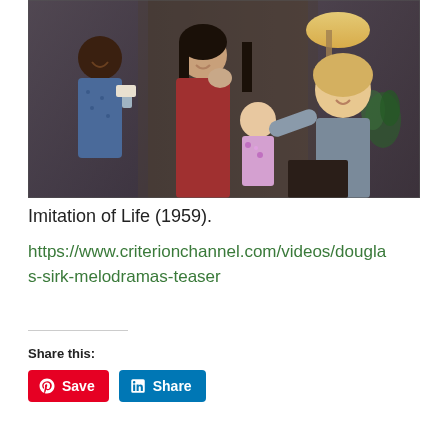[Figure (photo): A film still from Imitation of Life (1959) showing four characters in a domestic interior scene: a Black woman in a blue dress standing in the background, a woman with dark hair in a red robe being touched on the face, a young girl in a floral dress, and a blonde woman in gray reaching out toward the group. A lamp and plant are visible in the background.]
Imitation of Life (1959).
https://www.criterionchannel.com/videos/douglas-sirk-melodramas-teaser
Share this:
Save
Share